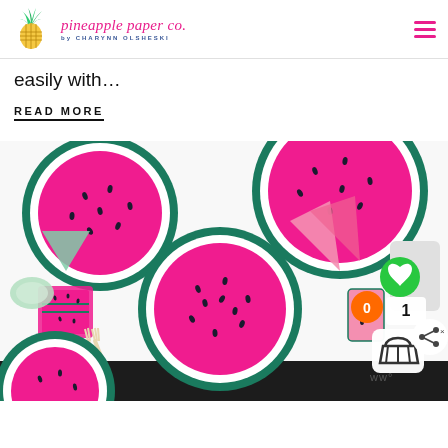pineapple paper co. by CHARYNN OLSHESKI
easily with…
READ MORE
[Figure (photo): Watermelon-themed paper plates, cups, napkins, and utensils styled on a white surface. Plates are hot pink with dark seed marks and teal green rims. Pink triangular napkins, mint green napkins, and light wood forks are scattered around. Pink party cups with watermelon print are visible. UI overlay shows green heart button, orange badge with 0, white wishlist count 1, cart icon, and share button.]